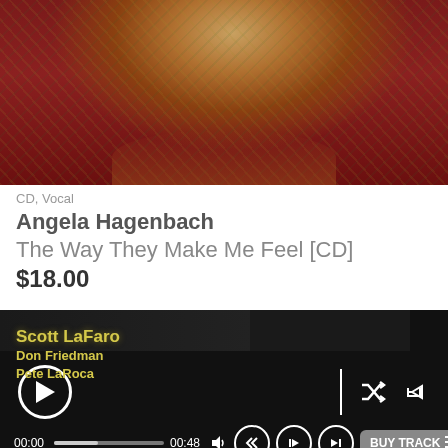[Figure (photo): Top portion of album artwork showing a woman in a leopard print dress seated on a red surface, arms visible, cropped at mid-section]
CD, Vocal
Angela Hagenbach
The Way They Make Me Feel [CD]
$18.00
[Figure (photo): Album cover for Scott LaFaro, Don Friedman, Pete LaRoca - Pieces of Jade. Black background with yellow/gold artist names on left and green 'Pieces of JADE' text on right. Bottom half shows a partial photo of a musician.]
[Figure (screenshot): Audio player controls bar with play button, progress bar showing 00:00 to 00:48, shuffle icon, share icon, replay, previous, next buttons, and BUY TRACK button.]